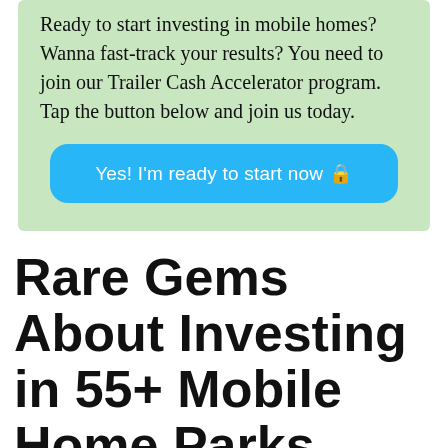Ready to start investing in mobile homes? Wanna fast-track your results? You need to join our Trailer Cash Accelerator program. Tap the button below and join us today.
[Figure (other): Blue rounded call-to-action button with white text: Yes! I'm ready to start now 🔒]
Rare Gems About Investing in 55+ Mobile Home Parks